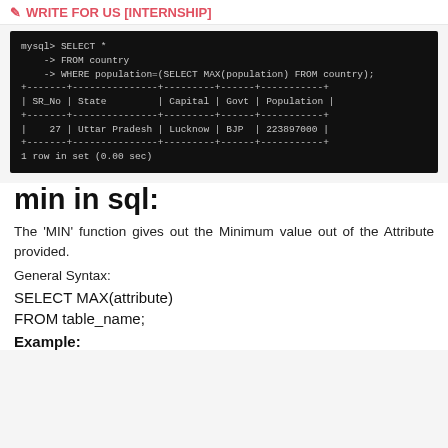✎ WRITE FOR US [INTERNSHIP]
[Figure (screenshot): MySQL terminal showing: mysql> SELECT * -> FROM country -> WHERE population=(SELECT MAX(population) FROM country); with result table showing SR_No=27, State=Uttar Pradesh, Capital=Lucknow, Govt=BJP, Population=223897000. 1 row in set (0.00 sec)]
min in sql:
The 'MIN' function gives out the Minimum value out of the Attribute provided.
General Syntax:
SELECT MAX(attribute)
FROM table_name;
Example: